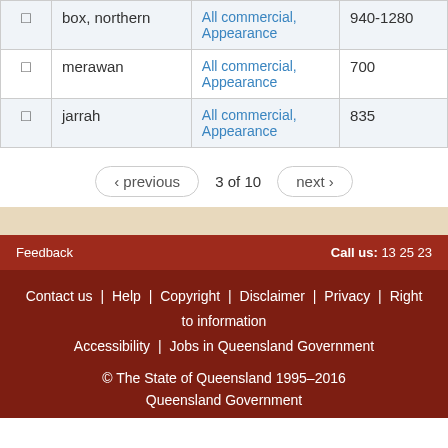|  | Name | Use | Density (kg/m³) |
| --- | --- | --- | --- |
| □ | box, northern | All commercial, Appearance | 940-1280 |
| □ | merawan | All commercial, Appearance | 700 |
| □ | jarrah | All commercial, Appearance | 835 |
‹ previous   3 of 10   next ›
Feedback | Call us: 13 25 23 | Contact us | Help | Copyright | Disclaimer | Privacy | Right to information | Accessibility | Jobs in Queensland Government | © The State of Queensland 1995–2016 | Queensland Government